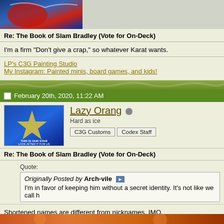[Figure (illustration): Top portion of forum post showing a Spider-Man comic image on left and grey area on right]
Re: The Book of Slam Bradley (Vote for On-Deck)
I'm a firm "Don't give a crap," so whatever Karat wants.
LP's C3G Painting Studio
My Instagram: Painted minis, board games, and kids!
[Figure (illustration): Forum section separator with green gradient texture]
February 20th, 2020, 11:22 AM
[Figure (illustration): Avatar image showing a gold star on blue background with text THIS IS OUR STAR / LOOK AFTER IT FOR US]
Lazy Orang
Hard as ice
C3G Customs   Codex Staff
Re: The Book of Slam Bradley (Vote for On-Deck)
Quote:
Originally Posted by Arch-vile
I'm in favor of keeping him without a secret identity. It's not like we call h
Shortened names are different from nicknames, IMO.
[Figure (illustration): Bottom strip showing partial comic book image]